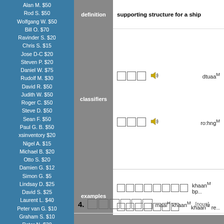Alan M. $50
Rod S. $50
Wolfgang W. $50
Bill O. $70
Ravinder S. $20
Chris S. $15
Jose D-C $20
Steven P. $20
Daniel W. $75
Rudolf M. $30
David R. $50
Judith W. $50
Roger C. $50
Steve D. $50
Sean F. $50
Paul G. B. $50
xsinventory $20
Nigel A. $15
Michael B. $20
Otto S. $20
Damien G. $12
Simon G. $5
Lindsay D. $25
David S. $25
Laurent L. $40
Peter van G. $10
Graham S. $10
Peter N. $30
James A. $10
Dmitry I. $10
Edward R. $50
Roderick S. $30
Mason S. $5
Henning E. $20
John F. $20
Daniel F. $10
Armand H. $20
Daniel S. $20
James McD. $20
Shane McC. $10
Roberts D. $50
definition: supporting structure for a ship
classifiers: [Khmer script] dtuaaM / [Khmer script] ro:hngM
examples: [Khmer script] khaanM bp... / [Khmer script] khaanM re...
4. [Khmer script] maaiH khaanM [noun]